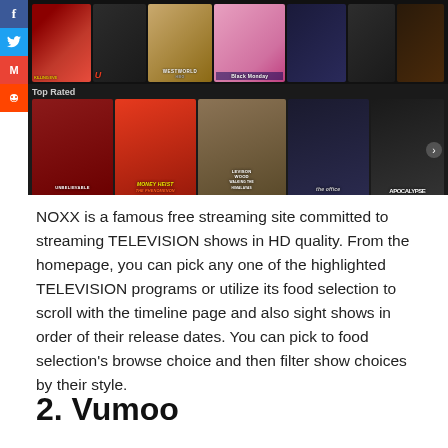[Figure (screenshot): Screenshot of the NOXX streaming website showing a dark-themed interface with movie/TV show thumbnails in two rows. Top row includes Killing Eve, YOU, Westworld, Black Monday, and others. Bottom row labeled 'Top Rated' includes Unbelievable, Money Heist: The Phenomenon, Levison Wood Walking the Himalayas, The Office, and Apocalypse. Social media share icons (Facebook, Twitter, Gmail, Reddit) are visible on the left side.]
NOXX is a famous free streaming site committed to streaming TELEVISION shows in HD quality. From the homepage, you can pick any one of the highlighted TELEVISION programs or utilize its food selection to scroll with the timeline page and also sight shows in order of their release dates. You can pick to food selection's browse choice and then filter show choices by their style.
2. Vumoo